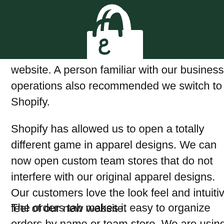[Figure (logo): White shopping bag logo icon on dark green header bar]
website. A person familiar with our business operations also recommended we switch to Shopify.
Shopify has allowed us to open a totally different game in apparel designs. We can now open custom team stores that do not interfere with our original apparel designs. Our customers love the look feel and intuitive feel of our new website.
The orders tab makes it easy to organize orders by name or team store. We are using